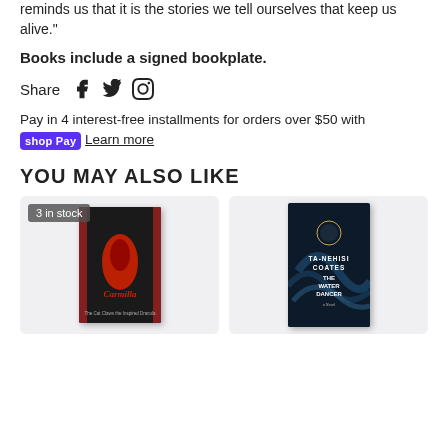reminds us that it is the stories we tell ourselves that keep us alive."
Books include a signed bookplate.
Share
Pay in 4 interest-free installments for orders over $50 with shop Pay Learn more
YOU MAY ALSO LIKE
[Figure (photo): Book cover of Carmilla with a red and dark design, labeled '3 in stock']
[Figure (photo): Book cover of The Water Dancer by Ta-Nehisi Coates, dark blue design]